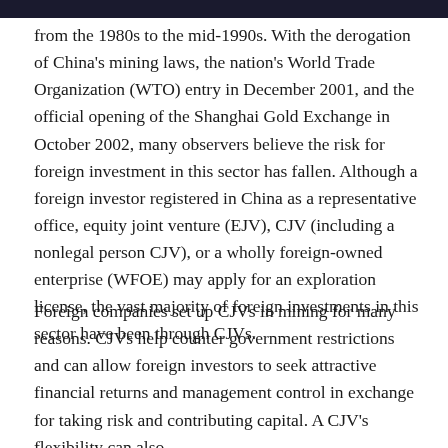from the 1980s to the mid-1990s. With the derogation of China's mining laws, the nation's World Trade Organization (WTO) entry in December 2001, and the official opening of the Shanghai Gold Exchange in October 2002, many observers believe the risk for foreign investment in this sector has fallen. Although a foreign investor registered in China as a representative office, equity joint venture (EJV), CJV (including a nonlegal person CJV), or a wholly foreign-owned enterprise (WFOE) may apply for an exploration license, the vast majority of foreign investments in this sector have been through CJVs.
Foreign companies set up CJVs in mining for many reasons. CJVs help counter government restrictions and can allow foreign investors to seek attractive financial returns and management control in exchange for taking risk and contributing capital. A CJV's flexibility can also